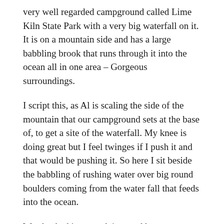very well regarded campground called Lime Kiln State Park with a very big waterfall on it. It is on a mountain side and has a large babbling brook that runs through it into the ocean all in one area – Gorgeous surroundings.
I script this, as Al is scaling the side of the mountain that our campground sets at the base of, to get a site of the waterfall. My knee is doing great but I feel twinges if I push it and that would be pushing it. So here I sit beside the babbling of rushing water over big round boulders coming from the water fall that feeds into the ocean.
We checked in around 4pm and began to set up camp. The couple beside us are locals and they were very shocked that we even got a tent site, as this particular camp is usually booked up and requires reservations to get in. She said they got their